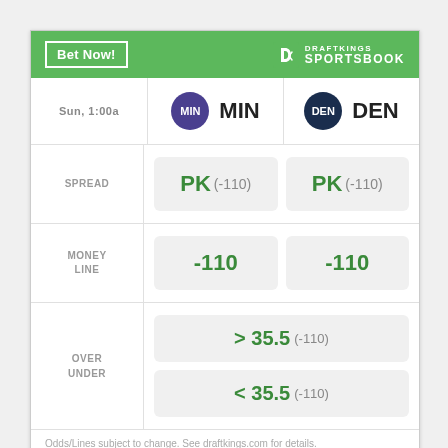[Figure (other): DraftKings Sportsbook betting widget showing MIN vs DEN matchup on Sun 1:00a. Spread: PK (-110) for both teams. Money Line: -110 for both teams. Over/Under: > 35.5 (-110) and < 35.5 (-110).]
Odds/Lines subject to change. See draftkings.com for details.